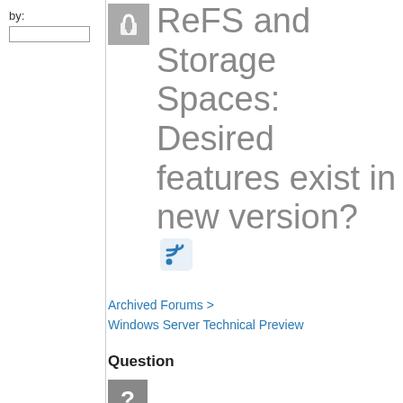by:
ReFS and Storage Spaces: Desired features exist in new version?
Archived Forums > Windows Server Technical Preview
Question
[Figure (illustration): Question mark icon - grey square with white question mark]
[Figure (illustration): Upvote arrow triangle icon]